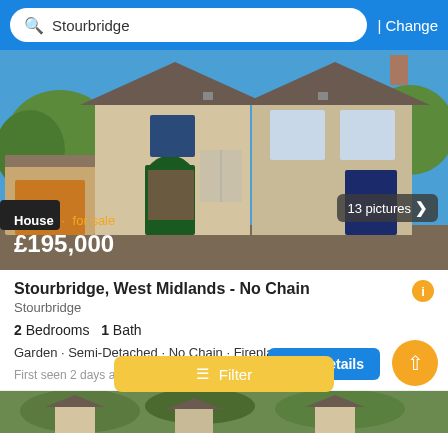Search: Stourbridge | Change
[Figure (photo): Exterior photo of a semi-detached house with cream/beige render, dark doors and windows, blue sky, with overlay text showing House · for sale £195,000 and '13 pictures >' badge]
Stourbridge, West Midlands - No Chain
Stourbridge
2 Bedrooms  1 Bath
Garden · Semi-Detached · No Chain · Fireplace · Kitchen · Parking
First seen 2 days ago on Listalter
[Figure (screenshot): Bottom strip showing thumbnails of another property listing with green foliage]